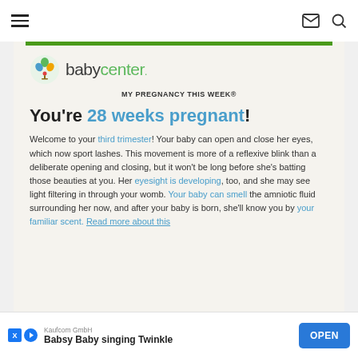Navigation bar with hamburger menu, mail icon, search icon
[Figure (logo): BabyCenter logo with colorful tree icon and green/teal text]
MY PREGNANCY THIS WEEK®
You're 28 weeks pregnant!
Welcome to your third trimester! Your baby can open and close her eyes, which now sport lashes. This movement is more of a reflexive blink than a deliberate opening and closing, but it won't be long before she's batting those beauties at you. Her eyesight is developing, too, and she may see light filtering in through your womb. Your baby can smell the amniotic fluid surrounding her now, and after your baby is born, she'll know you by your familiar scent. Read more about this
[Figure (screenshot): Ad banner: Kaufcom GmbH - Babsy Baby singing Twinkle, with OPEN button]